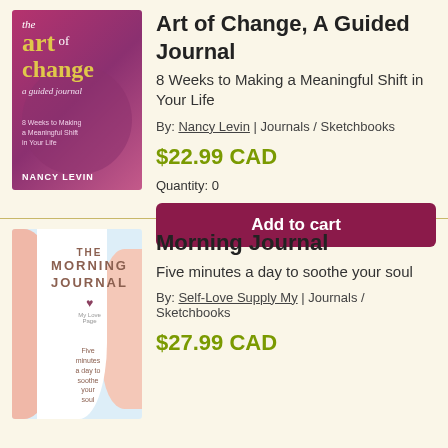[Figure (photo): Book cover: The Art of Change, A Guided Journal by Nancy Levin. Pink/purple gradient background with decorative circle, title in gold and white.]
Art of Change, A Guided Journal
8 Weeks to Making a Meaningful Shift in Your Life
By: Nancy Levin | Journals / Sketchbooks
$22.99 CAD
Quantity: 0
Add to cart
[Figure (photo): Book cover: The Morning Journal. Light blue background with pink/salmon organic shapes and white center area. Text: THE MORNING JOURNAL, Five minutes a day to soothe your soul.]
Morning Journal
Five minutes a day to soothe your soul
By: Self-Love Supply My | Journals / Sketchbooks
$27.99 CAD